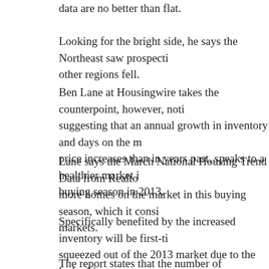data are no better than flat.
Looking for the bright side, he says the Northeast saw prospecti… other regions fell.
Ben Lane at Housingwire takes the counterpoint, however, noti… suggesting that an annual growth in inventory and days on the m… price increases than in years past, speaks to a healthier market i… buying season in 2013.
Lane says the March National Housing Trend Data from Realto… more homes on the market in this buying season, which it consi… markets.
Specifically benefited by the increased inventory will be first-ti… squeezed out of the 2013 market due to the lack of inventory.
The report states that the number of properties for sale in March… figures, to 1,841,844 units. The national median list price at $19…